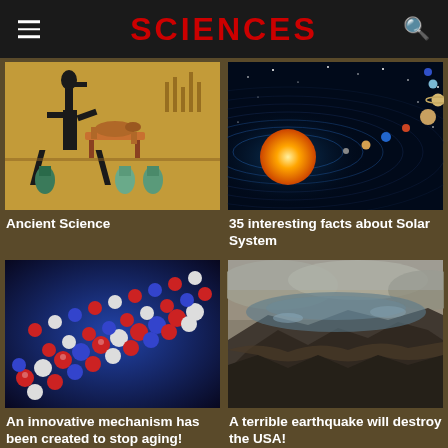SCIENCES
[Figure (photo): Ancient Egyptian wall painting showing Anubis figure with animals and canopic jars]
Ancient Science
[Figure (illustration): Illustration of the solar system showing the sun and planets with orbital rings on dark blue background]
35 interesting facts about Solar System
[Figure (photo): Molecular model of DNA or protein structure with red, white, and blue spheres on blue background]
An innovative mechanism has been created to stop aging!
[Figure (photo): Aerial view of a massive tsunami wave destroying coastline]
A terrible earthquake will destroy the USA!
[Figure (photo): Mars rover on red martian surface]
[Figure (photo): Closeup photo of rocks or earthly terrain]